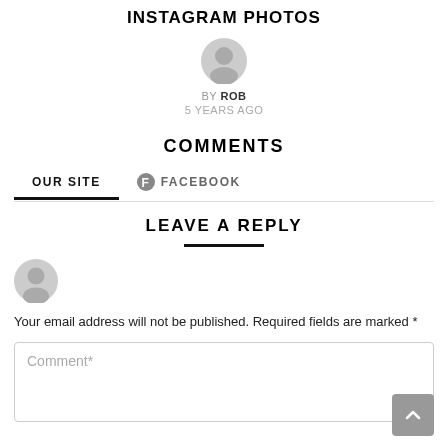INSTAGRAM PHOTOS
BY ROB
5 YEARS AGO
COMMENTS
OUR SITE   FACEBOOK
LEAVE A REPLY
Your email address will not be published. Required fields are marked *
Comment*